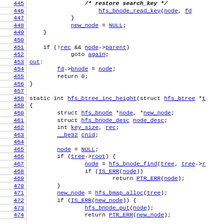[Figure (screenshot): Source code listing (C language) showing lines 445-474 of an HFS B-tree implementation, with line numbers on the left and code on the right. Identifiers are hyperlinked in blue.]